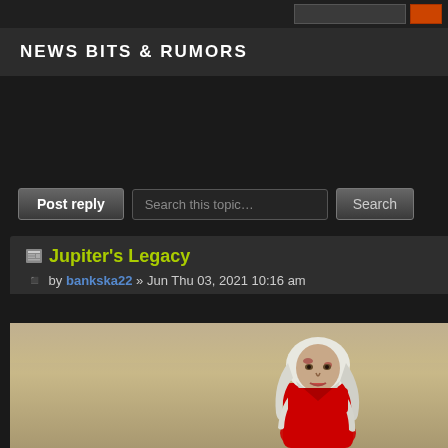NEWS BITS & RUMORS
Post reply
Search this topic…
Search
Jupiter's Legacy
by bankska22 » Jun Thu 03, 2021 10:16 am
[Figure (photo): A battered older man with long white/grey hair and beard, wearing a red costume, set against a desert/dusty background. Likely a still from the Jupiter's Legacy TV show.]